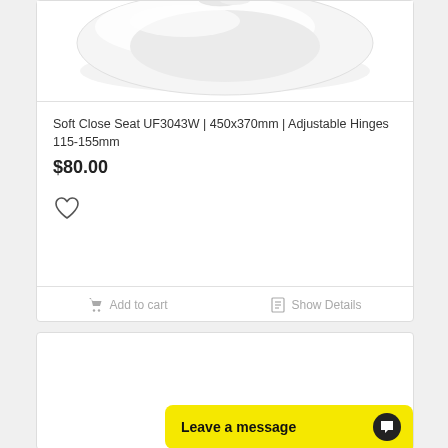[Figure (photo): Toilet seat product image - white oval soft close toilet seat viewed from above at slight angle]
Soft Close Seat UF3043W | 450x370mm | Adjustable Hinges 115-155mm
$80.00
[Figure (illustration): Heart/wishlist icon outline]
Add to cart
Show Details
Leave a message